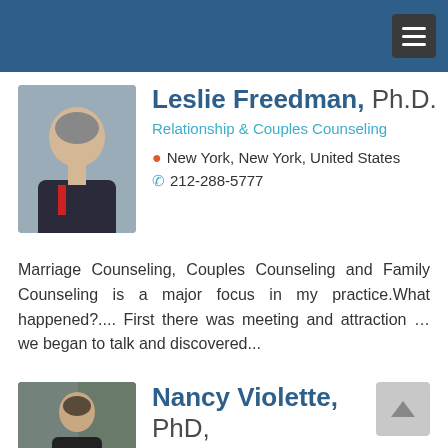Navigation menu
Leslie Freedman, Ph.D.
Relationship & Couples Counseling
New York, New York, United States
212-288-5777
Marriage Counseling, Couples Counseling and Family Counseling is a major focus in my practice.What happened?.... First there was meeting and attraction … we began to talk and discovered...
Nancy Violette, PhD, LCSW
[Figure (photo): Headshot of Leslie Freedman, middle-aged man in suit with glasses]
[Figure (photo): Photo of Nancy Violette]